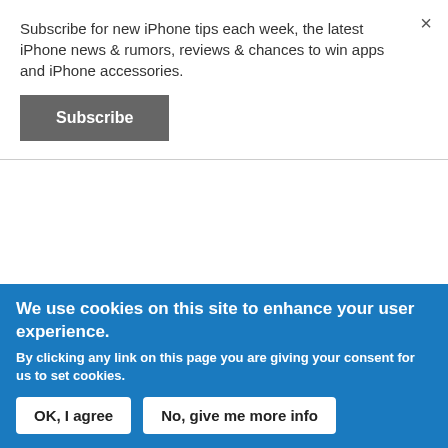Subscribe for new iPhone tips each week, the latest iPhone news & rumors, reviews & chances to win apps and iPhone accessories.
[Figure (screenshot): Subscribe button — dark grey rectangular button with bold white text 'Subscribe']
wish to block
3. Touch the number at the top
4. Touch the information circle (i) on the right
We use cookies on this site to enhance your user experience.
By clicking any link on this page you are giving your consent for us to set cookies.
[Figure (screenshot): Two buttons: 'OK, I agree' and 'No, give me more info' on blue cookie consent banner]